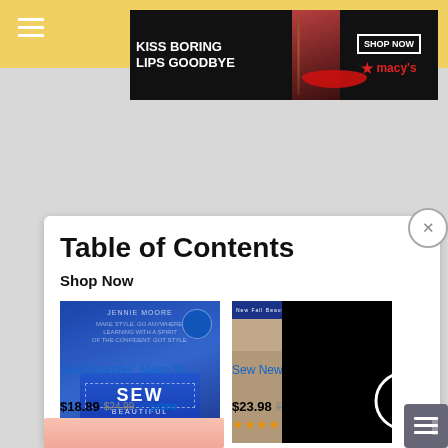[Figure (screenshot): Yellow top navigation bar with hamburger menu icon on left and search (magnifying glass) icon on right]
[Figure (photo): Macy's advertisement banner: 'KISS BORING LIPS GOODBYE' with woman's face with red lips, SHOP NOW button, and Macy's star logo on dark background]
grasp
Table of Contents
Shop Now
[Figure (photo): Book cover of 'Sew Beautiful: Make St...' showing a woman in a blue dress with 'SEW BEAUTIFUL' text]
[Figure (photo): Magazine cover of 'Sew News' partially visible with loading spinner overlay (black background with white circle arc)]
Sew Beautiful: Make St...
Sew News
$18.89  $24.99  ✓prime
$23.98  $47.92
★★★★★ (332)
★★★★½ (97)